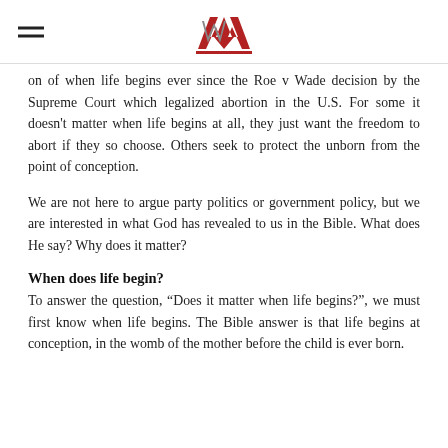[logo: AW / Alliance of Women]
on of when life begins ever since the Roe v Wade decision by the Supreme Court which legalized abortion in the U.S. For some it doesn't matter when life begins at all, they just want the freedom to abort if they so choose. Others seek to protect the unborn from the point of conception.
We are not here to argue party politics or government policy, but we are interested in what God has revealed to us in the Bible. What does He say? Why does it matter?
When does life begin?
To answer the question, “Does it matter when life begins?”, we must first know when life begins. The Bible answer is that life begins at conception, in the womb of the mother before the child is ever born.